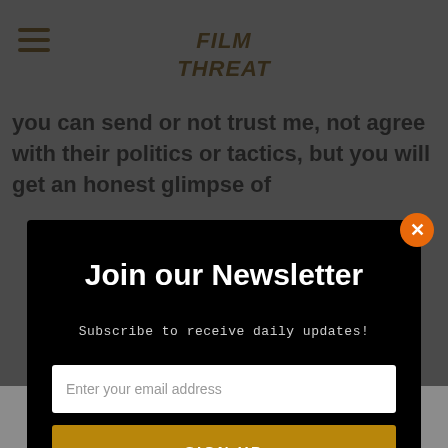[Figure (logo): Film Threat logo in stylized graffiti font at top center of page]
you can send or not trust me, not agree with their politics or tactics, but you will get an honest glimpse of
Join our Newsletter
Subscribe to receive daily updates!
Enter your email address
SIGN UP